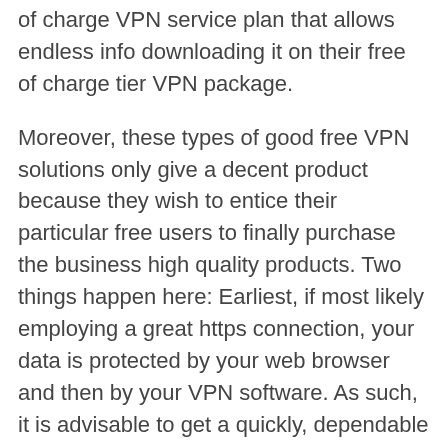of charge VPN service plan that allows endless info downloading it on their free of charge tier VPN package.
Moreover, these types of good free VPN solutions only give a decent product because they wish to entice their particular free users to finally purchase the business high quality products. Two things happen here: Earliest, if most likely employing a great https connection, your data is protected by your web browser and then by your VPN software. As such, it is advisable to get a quickly, dependable https://buyclomidonlaine.com/buy-clomid-online-now-to-resolve-your-infertility-issue/infertility/ and protected net connection through a paid out VPN product, for a cheaper cost, you'd be better with positive that the info you dispatched out will not be jeopardized. Such type of VPN setup also provides the customer a great confidential IP internet protocol